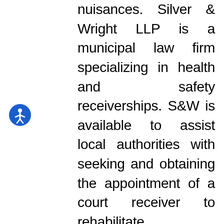nuisances. Silver & Wright LLP is a municipal law firm specializing in health and safety receiverships. S&W is available to assist local authorities with seeking and obtaining the appointment of a court receiver to rehabilitate dangerous, blighted, and substandard properties. Please visit our website or contact Matt Si...
[Figure (illustration): Blue circular accessibility icon with white stick figure in universal access pose]